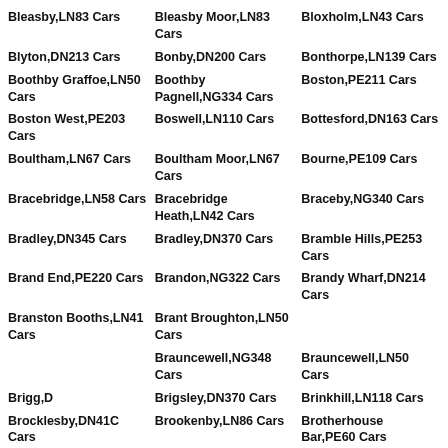Bleasby,LN83 Cars
Bleasby Moor,LN83 Cars
Bloxholm,LN43 Cars
Blyton,DN213 Cars
Bonby,DN200 Cars
Bonthorpe,LN139 Cars
Boothby Graffoe,LN50 Cars
Boothby Pagnell,NG334 Cars
Boston,PE211 Cars
Boston West,PE203 Cars
Boswell,LN110 Cars
Bottesford,DN163 Cars
Boultham,LN67 Cars
Boultham Moor,LN67 Cars
Bourne,PE109 Cars
Bracebridge,LN58 Cars
Bracebridge Heath,LN42 Cars
Braceby,NG340 Cars
Bradley,DN345 Cars
Bradley,DN370 Cars
Bramble Hills,PE253 Cars
Brand End,PE220 Cars
Brandon,NG322 Cars
Brandy Wharf,DN214 Cars
Branston Booths,LN41 Cars
Brant Broughton,LN50 Cars
Brauncewell,NG348 Cars
Brauncewell,LN50 Cars
Brigg,DN
Brigsley,DN370 Cars
Brinkhill,LN118 Cars
Brocklesby,DN41C Cars
Brookenby,LN86 Cars
Brotherhouse Bar,PE60 Cars
Broughton,DN200 Cars
Broughton
Broxholme,LN12 Cars